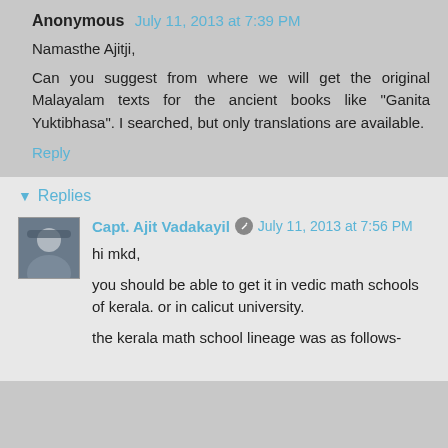Anonymous July 11, 2013 at 7:39 PM
Namasthe Ajitji,
Can you suggest from where we will get the original Malayalam texts for the ancient books like "Ganita Yuktibhasa". I searched, but only translations are available.
Reply
Replies
Capt. Ajit Vadakayil July 11, 2013 at 7:56 PM
hi mkd,
you should be able to get it in vedic math schools of kerala. or in calicut university.
the kerala math school lineage was as follows-